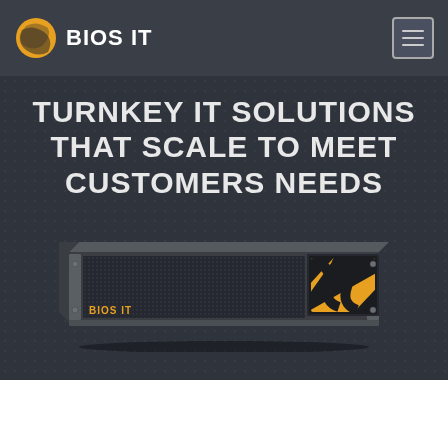BIOS IT
TURNKEY IT SOLUTIONS THAT SCALE TO MEET CUSTOMERS NEEDS
[Figure (photo): A 2U rack-mounted server unit with dark grey housing, mesh front panel, 'BIOS IT' branding in yellow text, and a yellow-and-black striped logo fan graphic on the right side.]